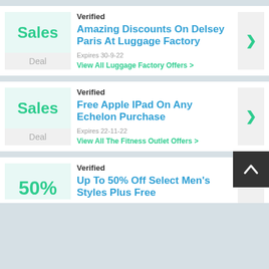Verified
Sales
Deal
Amazing Discounts On Delsey Paris At Luggage Factory
Expires 30-9-22
View All Luggage Factory Offers >
Verified
Sales
Deal
Free Apple IPad On Any Echelon Purchase
Expires 22-11-22
View All The Fitness Outlet Offers >
Verified
50%
Up To 50% Off Select Men's Styles Plus Free